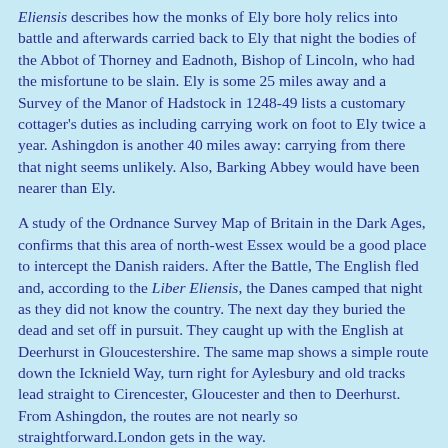Eliensis describes how the monks of Ely bore holy relics into battle and afterwards carried back to Ely that night the bodies of the Abbot of Thorney and Eadnoth, Bishop of Lincoln, who had the misfortune to be slain. Ely is some 25 miles away and a Survey of the Manor of Hadstock in 1248-49 lists a customary cottager's duties as including carrying work on foot to Ely twice a year. Ashingdon is another 40 miles away: carrying from there that night seems unlikely. Also, Barking Abbey would have been nearer than Ely.
A study of the Ordnance Survey Map of Britain in the Dark Ages, confirms that this area of north-west Essex would be a good place to intercept the Danish raiders. After the Battle, The English fled and, according to the Liber Eliensis, the Danes camped that night as they did not know the country. The next day they buried the dead and set off in pursuit. They caught up with the English at Deerhurst in Gloucestershire. The same map shows a simple route down the Icknield Way, turn right for Aylesbury and old tracks lead straight to Cirencester, Gloucester and then to Deerhurst. From Ashingdon, the routes are not nearly so straightforward.London gets in the way.
Thurkil was appointed earl of East Anglia and he helped Cnut build a minster of stone and lime to commemorate the fallen of both sides.Ashingdon was never in East Anglia but Hadstock and Ashdon probably were, the county boundary being rather fluid at